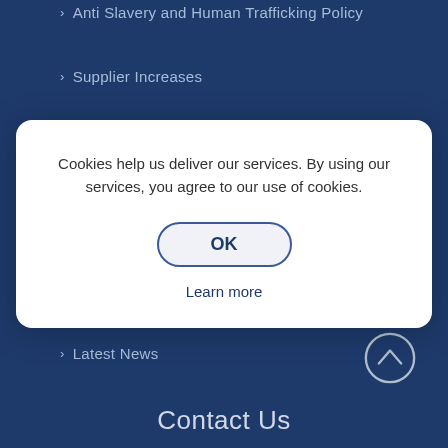Anti Slavery and Human Trafficking Policy
Supplier Increases
Certifications
Cookies help us deliver our services. By using our services, you agree to our use of cookies.
OK
Learn more
Click & Deliver
Latest News
Contact Us